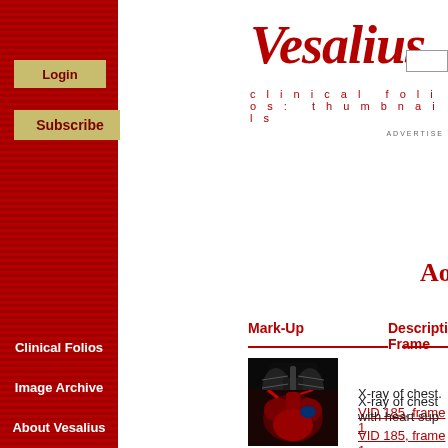Vesalius
clinical folios: thumbnails
Login
Subscribe
Clinical Folios
Image Archive
About Vesalius
Home
ADVERTISE
Aortic Valve Repl
| Mark-Up | Description / Link to Frame |
| --- | --- |
| [X-ray chest image] | X-ray of chest.
VID 185, frame 1 |
| [Heart image] | X-ray of chest with heart sup
VID 185, frame 1 |